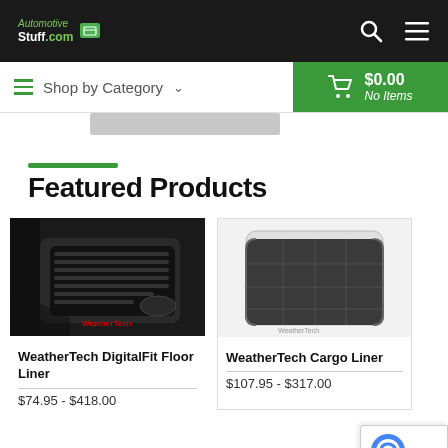AutomotiveStuff.com — Shop by Category — Cart $0.00 No Items
Featured Products
[Figure (photo): WeatherTech DigitalFit Floor Liner product photo — dark rubber floor mat in a car]
WeatherTech DigitalFit Floor Liner
$74.95 - $418.00
[Figure (photo): WeatherTech Cargo Liner product photo — black rubber cargo tray on white background]
WeatherTech Cargo Liner
$107.95 - $317.00